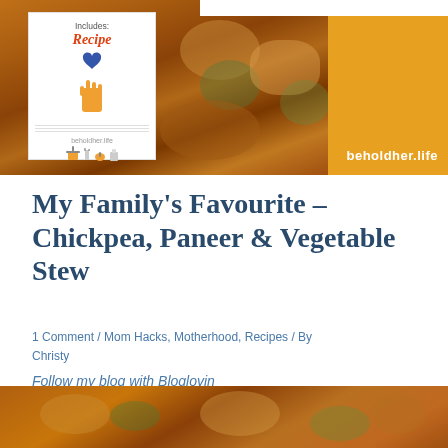[Figure (photo): Header image featuring food photo of chickpea paneer stew with an orange block on the right showing beholdher.life, and a recipe card overlay on the left showing 'Includes: Recipe' with a heart and hand illustration and beholdher.life URL]
My Family’s Favourite – Chickpea, Paneer & Vegetable Stew
1 Comment / Mom Hacks, Motherhood, Recipes / By Christy
Follow my blog with Bloglovin
[Figure (photo): Close-up photo of chickpea paneer vegetable stew at bottom of page]